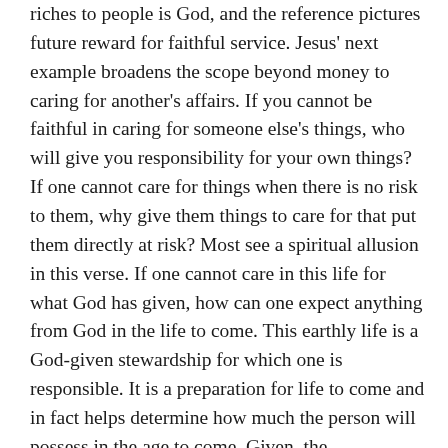riches to people is God, and the reference pictures future reward for faithful service. Jesus' next example broadens the scope beyond money to caring for another's affairs. If you cannot be faithful in caring for someone else's things, who will give you responsibility for your own things? If one cannot care for things when there is no risk to them, why give them things to care for that put them directly at risk? Most see a spiritual allusion in this verse. If one cannot care in this life for what God has given, how can one expect anything from God in the life to come. This earthly life is a God-given stewardship for which one is responsible. It is a preparation for life to come and in fact helps determine how much the person will possess in the age to come. Given, the spiritual-physical contrast in the context, such a reading of the verse makes sense. The exhortation is to be faithful